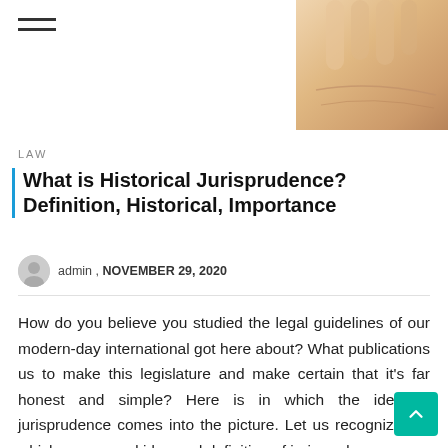[Figure (photo): Partial view of a hand (skin/palm) visible in the top-right corner of the page header area]
LAW
What is Historical Jurisprudence? Definition, Historical, Importance
admin , NOVEMBER 29, 2020
How do you believe you studied the legal guidelines of our modern-day international got here about? What publications us to make this legislature and make certain that it’s far honest and simple? Here is in which the idea of jurisprudence comes into the picture. Let us recognize the which means and idea and definition of jurisprudence.